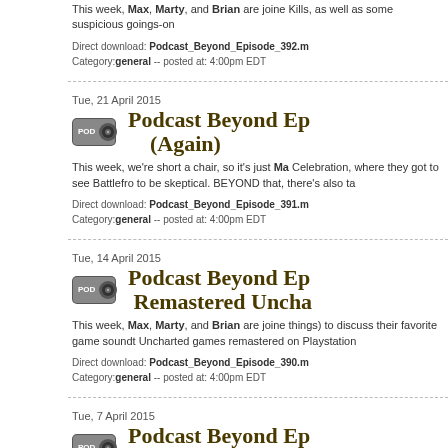This week, Max, Marty, and Brian are joined... Kills, as well as some suspicious goings-on...
Direct download: Podcast_Beyond_Episode_392.m... Category:general -- posted at: 4:00pm EDT
Tue, 21 April 2015
Podcast Beyond Ep... (Again)
This week, we're short a chair, so it's just Ma... Celebration, where they got to see Battlefro... to be skeptical. BEYOND that, there's also ta...
Direct download: Podcast_Beyond_Episode_391.m... Category:general -- posted at: 4:00pm EDT
Tue, 14 April 2015
Podcast Beyond Ep... Remastered Uncha...
This week, Max, Marty, and Brian are joined... things) to discuss their favorite game soundt... Uncharted games remastered on Playstation...
Direct download: Podcast_Beyond_Episode_390.m... Category:general -- posted at: 4:00pm EDT
Tue, 7 April 2015
Podcast Beyond Ep... Battlefront Hype